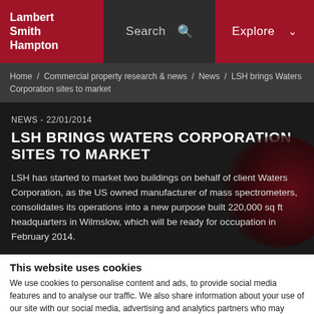Lambert Smith Hampton | Search | Explore
Home / Commercial property research & news / News / LSH brings Waters Corporation sites to market
NEWS - 22/01/2014
LSH BRINGS WATERS CORPORATION SITES TO MARKET
LSH has started to market two buildings on behalf of client Waters Corporation, as the US owned manufacturer of mass spectrometers, consolidates its operations into a new purpose built 220,000 sq ft headquarters in Wilmslow, which will be ready for occupation in February 2014.
This website uses cookies
We use cookies to personalise content and ads, to provide social media features and to analyse our traffic. We also share information about your use of our site with our social media, advertising and analytics partners who may